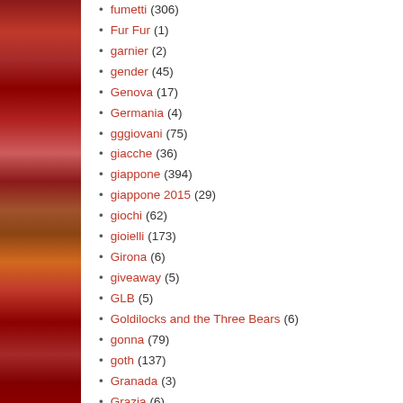[Figure (photo): Decorative sidebar image with red, orange, and dark toned fabric or textile pattern on the left side of the page]
fumetti (306)
Fur Fur (1)
garnier (2)
gender (45)
Genova (17)
Germania (4)
gggiovani (75)
giacche (36)
giappone (394)
giappone 2015 (29)
giochi (62)
gioielli (173)
Girona (6)
giveaway (5)
GLB (5)
Goldilocks and the Three Bears (6)
gonna (79)
goth (137)
Granada (3)
Grazia (6)
Grazia.it (2)